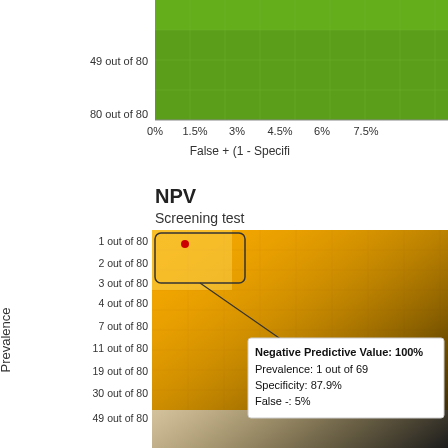[Figure (continuous-plot): Top portion of a heatmap chart showing PPV/NPV values, with green background. Y-axis shows '49 out of 80' and '80 out of 80'. X-axis shows False + (1 - Specificity) values: 0%, 1.5%, 3%, 4.5%, 6%, 7.5%.]
[Figure (continuous-plot): NPV Screening test heatmap. Y-axis labeled 'Prevalence' with values: 1 out of 80, 2 out of 80, 3 out of 80, 4 out of 80, 7 out of 80, 11 out of 80, 19 out of 80, 30 out of 80, 49 out of 80. Orange/yellow heatmap fading to dark at bottom right. A tooltip shows: Negative Predictive Value: 100%, Prevalence: 1 out of 69, Specificity: 87.9%, False -: 5%. A red dot is at the top-left of the chart with a callout box.]